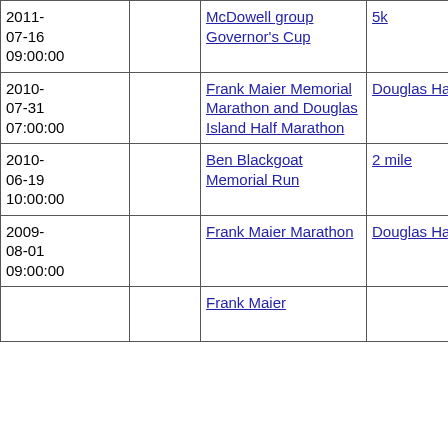| Date |  | Event | Race | Distance | Time |
| --- | --- | --- | --- | --- | --- |
| 2011-07-16 09:00:00 |  | McDowell group Governor's Cup | 5k | 5.00km | 00:… |
| 2010-07-31 07:00:00 |  | Frank Maier Memorial Marathon and Douglas Island Half Marathon | Douglas Half | 13.10miles | 02:… |
| 2010-06-19 10:00:00 |  | Ben Blackgoat Memorial Run | 2 mile | 2.00miles | 00:… |
| 2009-08-01 09:00:00 |  | Frank Maier Marathon | Douglas Half | 13.10miles | 02:… |
|  |  | Frank Maier… |  |  |  |